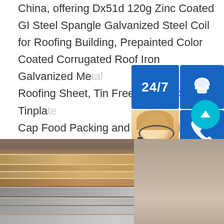China, offering Dx51d 120g Zinc Coated GI Steel Spangle Galvanized Steel Coil for Roofing Building, Prepainted Color Coated Corrugated Roof Iron Galvanized Metal Roofing Sheet, Tin Free Steel TFS Tinplate Cap Food Packing and so on.sp.info China Coating Galvanized Steel Corrugated Ma Instant Order. Products with this tag sup ordering service. You can place an order i visiting https://trading.made-in-china/ to you need. You Might Also Like. Hot Dipp Galvanized Steel Roofing Sheet/Steel
[Figure (screenshot): Customer service sidebar widget with 24/7 label, headset icon, phone icon, Skype icon, female customer service representative photo, PROVIDE Empowering Customers text, and online live button]
[Figure (photo): Stacked galvanized steel sheets or coils viewed from the side, showing layered metal panels in brown/wood and grey/silver tones]